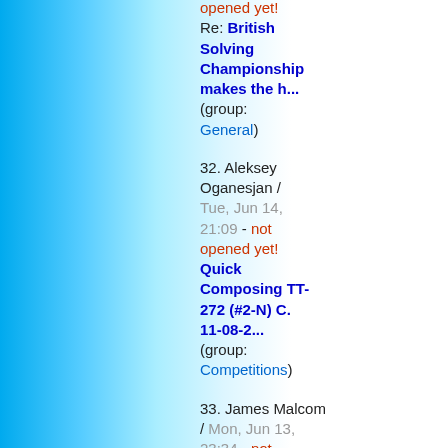Re: British Solving Championship makes the h... (group: General) - not opened yet!
32. Aleksey Oganesjan / Tue, Jun 14, 21:09 - not opened yet! Quick Composing TT-272 (#2-N) C. 11-08-2... (group: Competitions)
33. James Malcom / Mon, Jun 13, 23:34 - not opened yet! Challenge: Fill In All The Helpmate Anal... (group: General)
34. Sven Trommler / Mon, Jun 13,